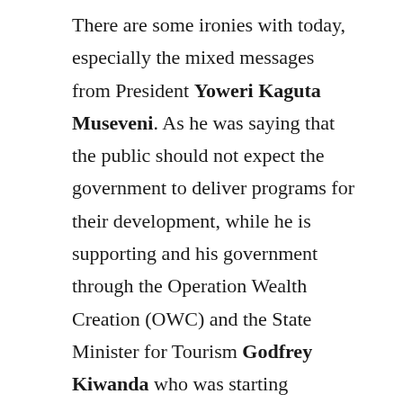There are some ironies with today, especially the mixed messages from President Yoweri Kaguta Museveni. As he was saying that the public should not expect the government to deliver programs for their development, while he is supporting and his government through the Operation Wealth Creation (OWC) and the State Minister for Tourism Godfrey Kiwanda who was starting Kisboka SACCO in Mityana District. So, it is weird that he is donating money to a project for development, while saying people shouldn't expect the state to contribute funds. Is he dumb? Just take a look!
“Our Commander in Chief H.E President Museveni officially launched and accepted to be the Patron of the poverty eradication drive called Kisoboka (It is possible) in Mityana North. The drive, that was initiated by State